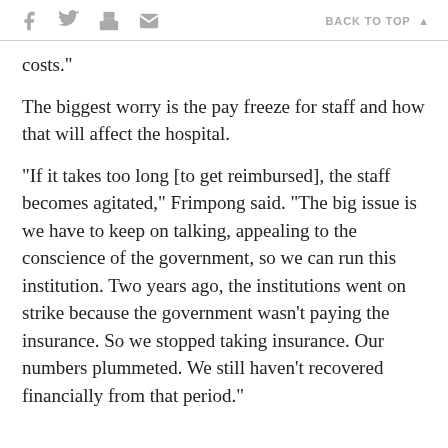BACK TO TOP
costs."
The biggest worry is the pay freeze for staff and how that will affect the hospital.
"If it takes too long [to get reimbursed], the staff becomes agitated," Frimpong said. "The big issue is we have to keep on talking, appealing to the conscience of the government, so we can run this institution. Two years ago, the institutions went on strike because the government wasn't paying the insurance. So we stopped taking insurance. Our numbers plummeted. We still haven't recovered financially from that period."